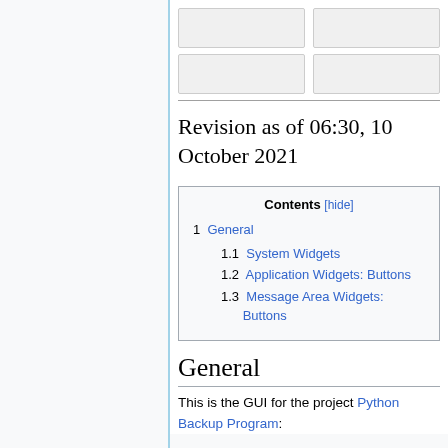[Figure (other): Four grey form input boxes arranged in two rows of two columns each]
Revision as of 06:30, 10 October 2021
| Contents [hide] |
| --- |
| 1  General |
| 1.1  System Widgets |
| 1.2  Application Widgets: Buttons |
| 1.3  Message Area Widgets: Buttons |
General
This is the GUI for the project Python Backup Program: